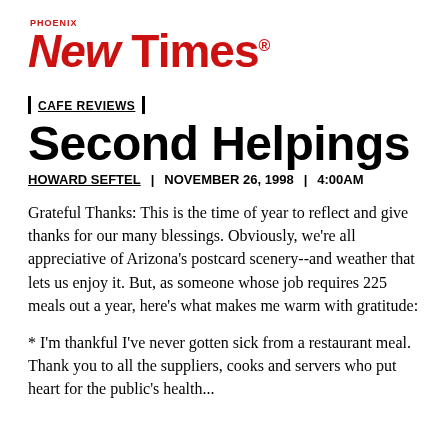[Figure (logo): Phoenix New Times logo in red with 'PHOENIX' text above 'New Times' in large bold italic/roman font]
| CAFE REVIEWS |
Second Helpings
HOWARD SEFTEL | NOVEMBER 26, 1998 | 4:00AM
Grateful Thanks: This is the time of year to reflect and give thanks for our many blessings. Obviously, we're all appreciative of Arizona's postcard scenery--and weather that lets us enjoy it. But, as someone whose job requires 225 meals out a year, here's what makes me warm with gratitude:
* I'm thankful I've never gotten sick from a restaurant meal. Thank you to all the suppliers, cooks and servers who put heart for the public's health...